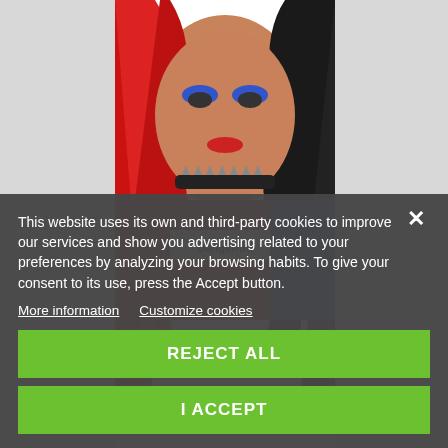[Figure (photo): A woman in a Harley Quinn-style Halloween costume with half red, half black curly hair, blue eye makeup, red lipstick, a spiked choker necklace, and a red/white/blue jacket with 'Dangerous' text on the shirt.]
This website uses its own and third-party cookies to improve our services and show you advertising related to your preferences by analyzing your browsing habits. To give your consent to its use, press the Accept button.
More information
Customize cookies
REJECT ALL
I ACCEPT